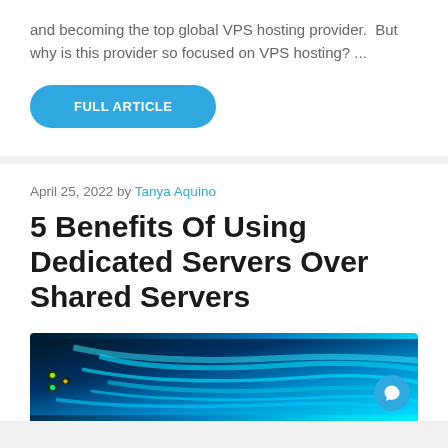and becoming the top global VPS hosting provider.  But why is this provider so focused on VPS hosting? ...
FULL ARTICLE
April 25, 2022 by Tanya Aquino
5 Benefits Of Using Dedicated Servers Over Shared Servers
[Figure (photo): Blurred photo of server cables and networking equipment with blue/cyan lighting]